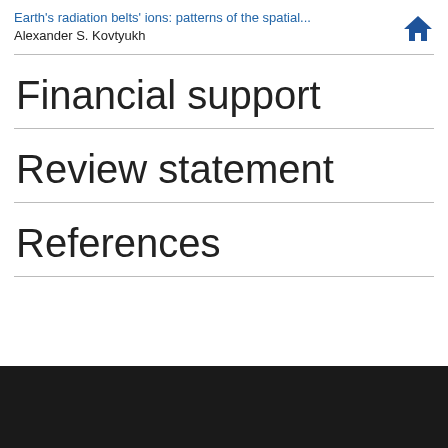Earth's radiation belts' ions: patterns of the spatial... | Alexander S. Kovtyukh
Financial support
Review statement
References